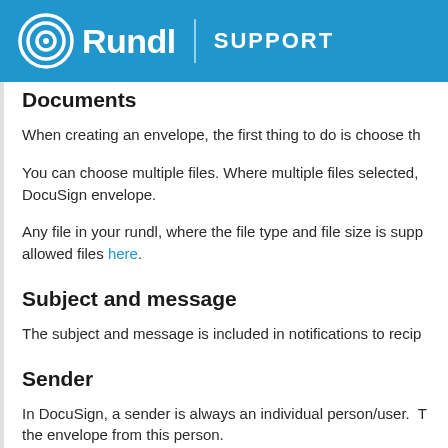Rundl | SUPPORT
Documents
When creating an envelope, the first thing to do is choose th
You can choose multiple files. Where multiple files selected, DocuSign envelope.
Any file in your rundl, where the file type and file size is supp allowed files here.
Subject and message
The subject and message is included in notifications to recip
Sender
In DocuSign, a sender is always an individual person/user. T the envelope from this person.